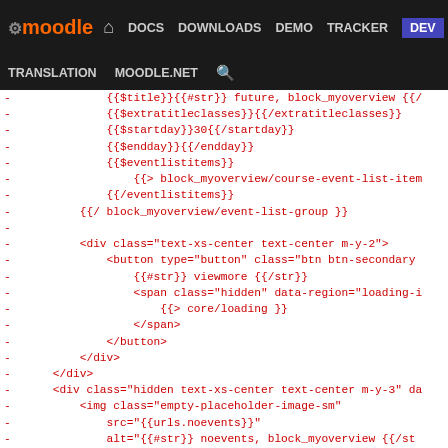moodle DOCS DOWNLOADS DEMO TRACKER DEV TRANSLATION MOODLE.NET
[Figure (screenshot): Code diff screenshot showing removed template lines (red) from a Moodle block_myoverview template file]
- {{$title}}{{#str}} future, block_myoverview {{/
- {{$extratitleclasses}}{{/extratitleclasses}}
- {{$startday}}30{{/startday}}
- {{$endday}}{{/endday}}
- {{$eventlistitems}}
-     {{> block_myoverview/course-event-list-item
- {{/eventlistitems}}
- {{/ block_myoverview/event-list-group }}
-
- <div class="text-xs-center text-center m-y-2">
-     <button type="button" class="btn btn-secondary"
-         {{#str}} viewmore {{/str}}
-         <span class="hidden" data-region="loading-i
-             {{> core/loading }}
-         </span>
-     </button>
- </div>
- </div>
- <div class="hidden text-xs-center text-center m-y-3" da
-     <img class="empty-placeholder-image-sm"
-         src="{{urls.noevents}}"
-         alt="{{#str}} noevents, block_myoverview {{/st
-         role="presentation">
- <p class="text-muted m-t-1">{{#str}} noevents, blo
- <a href="{{viewurl}}" class="btn btn-secondary {{#v
-     aria-label="{{#str}} viewcoursename, block_myove
- {{#str}} viewcourse, block_myoverview {{/str}}